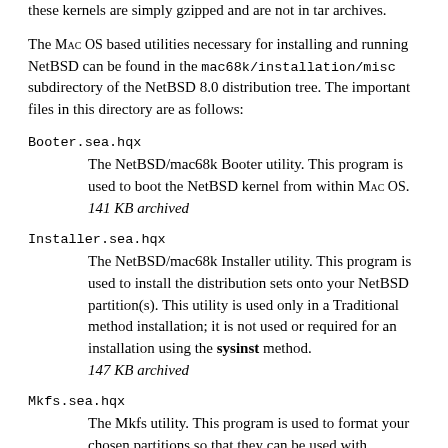these kernels are simply gzipped and are not in tar archives.
The Mac OS based utilities necessary for installing and running NetBSD can be found in the mac68k/installation/misc subdirectory of the NetBSD 8.0 distribution tree. The important files in this directory are as follows:
Booter.sea.hqx
The NetBSD/mac68k Booter utility. This program is used to boot the NetBSD kernel from within Mac OS.
141 KB archived
Installer.sea.hqx
The NetBSD/mac68k Installer utility. This program is used to install the distribution sets onto your NetBSD partition(s). This utility is used only in a Traditional method installation; it is not used or required for an installation using the sysinst method.
147 KB archived
Mkfs.sea.hqx
The Mkfs utility. This program is used to format your chosen partitions so that they can be used with NetBSD. This utility is used only in a Traditional method installation; it is not used or required for an installation using the sysinst method.